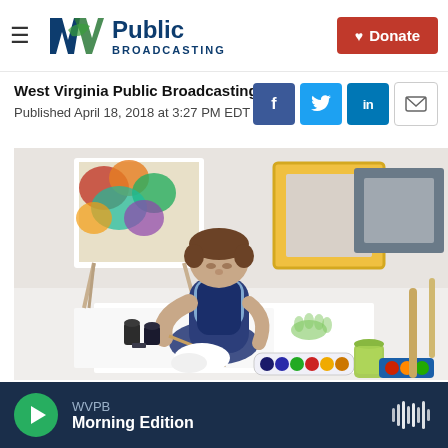W Public Broadcasting | Donate
West Virginia Public Broadcasting
Published April 18, 2018 at 3:27 PM EDT
[Figure (photo): Young child sitting on the floor painting with watercolors and paintbrushes, surrounded by art supplies, paint jars, and colorful artwork in the background]
WVPB Morning Edition